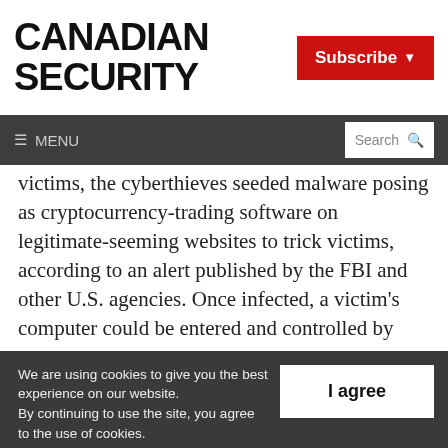CANADIAN SECURITY
Subscribe
≡ MENU  Search
victims, the cyberthieves seeded malware posing as cryptocurrency-trading software on legitimate-seeming websites to trick victims, according to an alert published by the FBI and other U.S. agencies. Once infected, a victim's computer could be entered and controlled by
We are using cookies to give you the best experience on our website. By continuing to use the site, you agree to the use of cookies. To find out more, read our privacy policy.
I agree